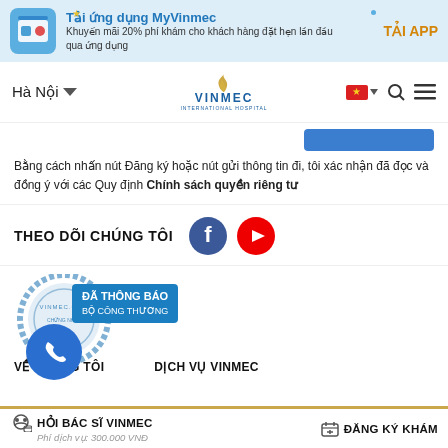[Figure (screenshot): App promotion banner for MyVinmec with blue background, app icon, text and TẢI APP button]
[Figure (screenshot): Vinmec International Hospital navigation bar with Hà Nội location selector, Vinmec logo, Vietnamese flag, search and menu icons]
Bằng cách nhấn nút Đăng ký hoặc nút gửi thông tin đi, tôi xác nhận đã đọc và đồng ý với các Quy định Chính sách quyền riêng tư
THEO DÕI CHÚNG TÔI
[Figure (screenshot): Đã thông báo Bộ Công Thương stamp badge with circular logo and phone call button overlay]
VỀ CHÚNG TÔI
DỊCH VỤ VINMEC
HỎI BÁC SĨ VINMEC
Phí dịch vụ: 300.000 VNĐ
ĐĂNG KÝ KHÁM